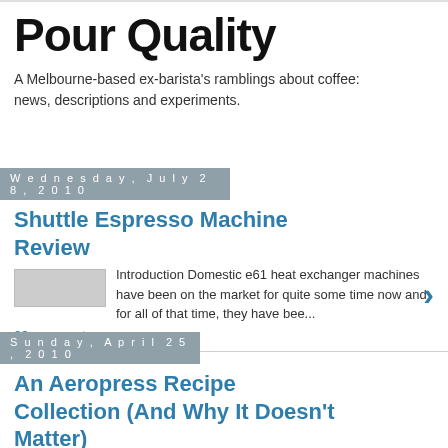Pour Quality
A Melbourne-based ex-barista's ramblings about coffee: news, descriptions and experiments.
Wednesday, July 28, 2010
Shuttle Espresso Machine Review
Introduction Domestic e61 heat exchanger machines have been on the market for quite some time now and for all of that time, they have bee...
23 comments:
Sunday, April 25, 2010
An Aeropress Recipe Collection (And Why It Doesn't Matter)
Introduction My espresso machine has been with some dude...